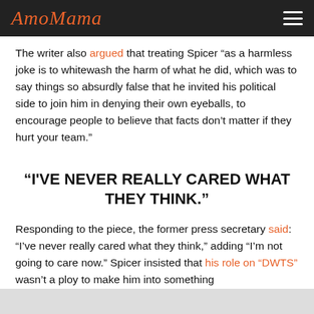AmoMama
The writer also argued that treating Spicer “as a harmless joke is to whitewash the harm of what he did, which was to say things so absurdly false that he invited his political side to join him in denying their own eyeballs, to encourage people to believe that facts don’t matter if they hurt your team.”
"I'VE NEVER REALLY CARED WHAT THEY THINK."
Responding to the piece, the former press secretary said: “I’ve never really cared what they think,” adding “I’m not going to care now.” Spicer insisted that his role on “DWTS” wasn’t a ploy to make him into something